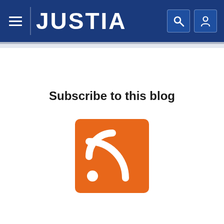JUSTIA
Subscribe to this blog
[Figure (logo): Orange RSS feed icon square with white WiFi-style signal arcs and dot]